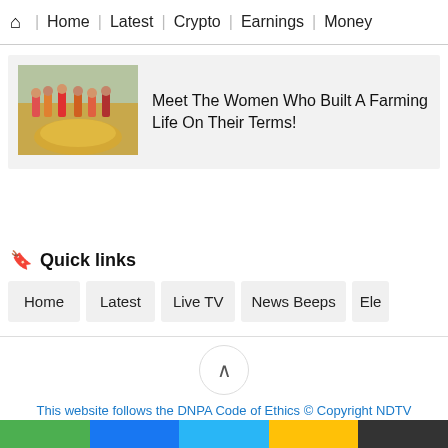Home | Latest | Crypto | Earnings | Money
[Figure (photo): Women farmers standing around a large pile of potatoes in a field]
Meet The Women Who Built A Farming Life On Their Terms!
Quick links
Home
Latest
Live TV
News Beeps
Ele
This website follows the DNPA Code of Ethics © Copyright NDTV Convergence Limited 2022. All rights reserved.